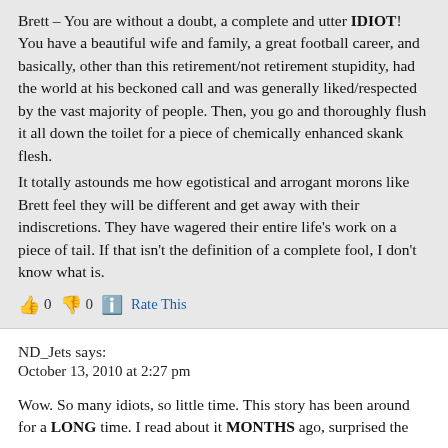Brett – You are without a doubt, a complete and utter IDIOT! You have a beautiful wife and family, a great football career, and basically, other than this retirement/not retirement stupidity, had the world at his beckoned call and was generally liked/respected by the vast majority of people. Then, you go and thoroughly flush it all down the toilet for a piece of chemically enhanced skank flesh.
It totally astounds me how egotistical and arrogant morons like Brett feel they will be different and get away with their indiscretions. They have wagered their entire life's work on a piece of tail. If that isn't the definition of a complete fool, I don't know what is.
👍 0 👎 0 ℹ Rate This
ND_Jets says:
October 13, 2010 at 2:27 pm
Wow. So many idiots, so little time. This story has been around for a LONG time. I read about it MONTHS ago, surprised the